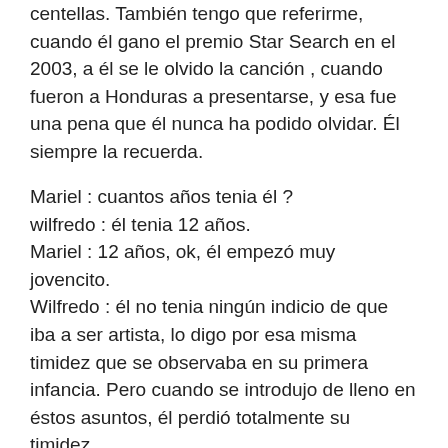centellas. También tengo que referirme, cuando él gano el premio Star Search en el 2003, a él se le olvido la canción , cuando fueron a Honduras a presentarse, y esa fue una pena que él nunca ha podido olvidar. Él siempre la recuerda.
Mariel : cuantos años tenia él ?
wilfredo : él tenia 12 años.
Mariel : 12 años, ok, él empezó muy jovencito.
Wilfredo : él no tenia ningún indicio de que iba a ser artista, lo digo por esa misma timidez que se observaba en su primera infancia. Pero cuando se introdujo de lleno en éstos asuntos, él perdió totalmente su timidez.
Mariel : él convirtió su timidez en una fortaleza, no ?
Wilfredo : exactamente. Él tomo mucho